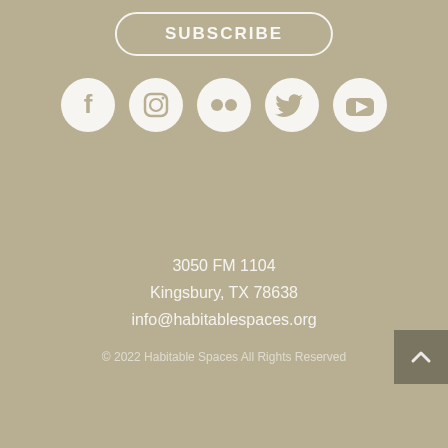SUBSCRIBE
[Figure (illustration): Row of 5 social media icons (Facebook, Instagram, Flickr, Twitter, YouTube) as white circles on tan background]
3050 FM 1104
Kingsbury, TX 78638
info@habitablespaces.org
© 2022 Habitable Spaces All Rights Reserved